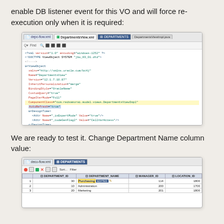enable DB listener event for this VO and will force re-execution only when it is required:
[Figure (screenshot): IDE/editor screenshot showing XML code for a ViewObject with AutoRefresh='true' highlighted, and SQL query visible]
We are ready to test it. Change Department Name column value:
[Figure (screenshot): Database table view showing DEPARTMENTS table with DEPARTMENT_ID, DEPARTMENT_NAME, MANAGER_ID, LOCATION_ID columns. Row 1: 30 Purchasing (highlighted/edited), 114, 1800. Row 2: 10 Administration, 200, 1700. Row 3: 20 Marketing, 201, 1800.]